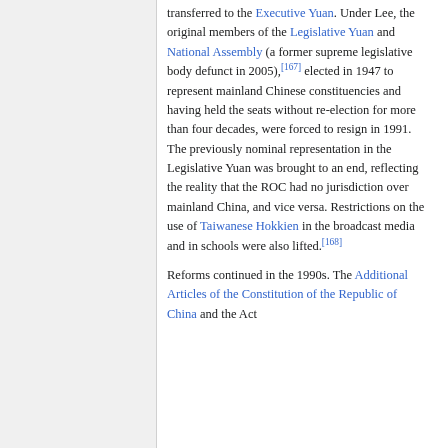transferred to the Executive Yuan. Under Lee, the original members of the Legislative Yuan and National Assembly (a former supreme legislative body defunct in 2005),[167] elected in 1947 to represent mainland Chinese constituencies and having held the seats without re-election for more than four decades, were forced to resign in 1991. The previously nominal representation in the Legislative Yuan was brought to an end, reflecting the reality that the ROC had no jurisdiction over mainland China, and vice versa. Restrictions on the use of Taiwanese Hokkien in the broadcast media and in schools were also lifted.[168]
Reforms continued in the 1990s. The Additional Articles of the Constitution of the Republic of China and the Act...